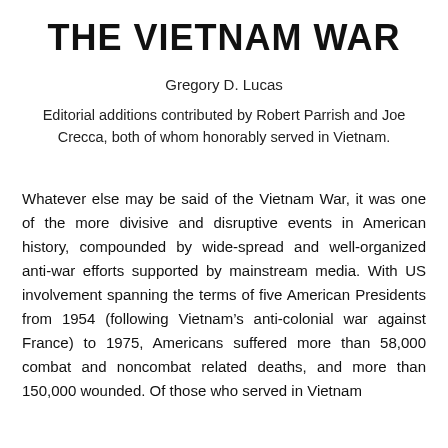THE VIETNAM WAR
Gregory D. Lucas
Editorial additions contributed by Robert Parrish and Joe Crecca, both of whom honorably served in Vietnam.
Whatever else may be said of the Vietnam War, it was one of the more divisive and disruptive events in American history, compounded by wide-spread and well-organized anti-war efforts supported by mainstream media. With US involvement spanning the terms of five American Presidents from 1954 (following Vietnam’s anti-colonial war against France) to 1975, Americans suffered more than 58,000 combat and noncombat related deaths, and more than 150,000 wounded. Of those who served in Vietnam